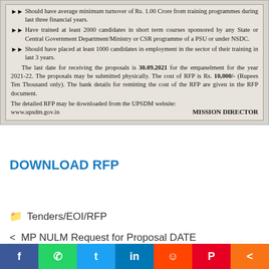[Figure (screenshot): Scanned government notice listing eligibility criteria for training programme empanelment, mentioning minimum turnover of Rs. 1.00 Crore, training of 2000 candidates, placement of 1000 candidates, deadline 30.09.2021, RFP cost Rs. 10,000/-, signed by MISSION DIRECTOR, website www.upsdm.gov.in]
DOWNLOAD RFP
Tenders/EOI/RFP
< MP NULM Request for Proposal DATE EXTENDED
> MP NULM RFP-Notice to Hold Online Bid